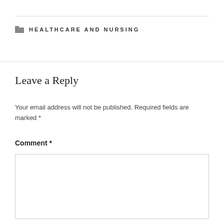HEALTHCARE AND NURSING
Leave a Reply
Your email address will not be published. Required fields are marked *
Comment *